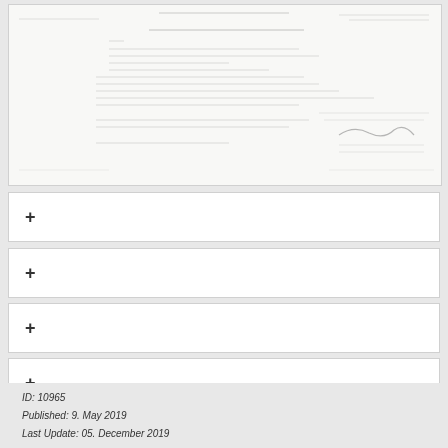[Figure (photo): Scanned government document page with handwritten and typed text, showing a formal letter or report with multiple lines of text and signatures at the bottom right]
+
+
+
+
ID:  10965
Published:  9. May 2019
Last Update: 05. December 2019